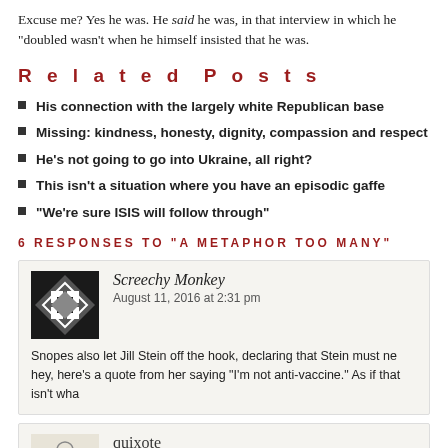Excuse me? Yes he was. He said he was, in that interview in which he "doubled down"... wasn't when he himself insisted that he was.
Related Posts
His connection with the largely white Republican base
Missing: kindness, honesty, dignity, compassion and respect
He's not going to go into Ukraine, all right?
This isn't a situation where you have an episodic gaffe
“We’re sure ISIS will follow through”
6 RESPONSES TO “A METAPHOR TOO MANY”
Screechy Monkey
August 11, 2016 at 2:31 pm
Snopes also let Jill Stein off the hook, declaring that Stein must ne... hey, here’s a quote from her saying “I’m not anti-vaccine.” As if that isn’t wha...
quixote
August 11, 2016 at 2:35 pm